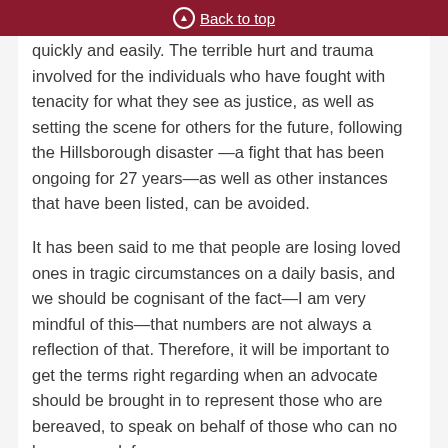Back to top
quickly and easily. The terrible hurt and trauma involved for the individuals who have fought with tenacity for what they see as justice, as well as setting the scene for others for the future, following the Hillsborough disaster —a fight that has been ongoing for 27 years—as well as other instances that have been listed, can be avoided.
It has been said to me that people are losing loved ones in tragic circumstances on a daily basis, and we should be cognisant of the fact—I am very mindful of this—that numbers are not always a reflection of that. Therefore, it will be important to get the terms right regarding when an advocate should be brought in to represent those who are bereaved, to speak on behalf of those who can no longer speak for